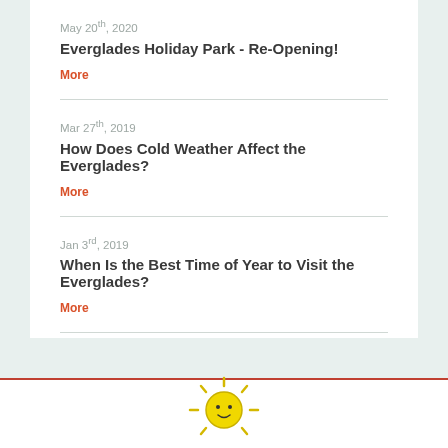May 20th, 2020
Everglades Holiday Park - Re-Opening!
More
Mar 27th, 2019
How Does Cold Weather Affect the Everglades?
More
Jan 3rd, 2019
When Is the Best Time of Year to Visit the Everglades?
More
[Figure (illustration): Cartoon sun icon partially visible at bottom of page]